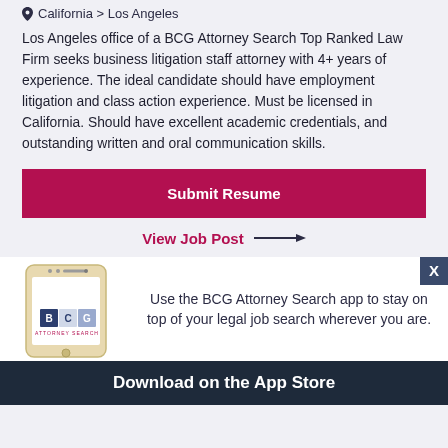California > Los Angeles
Los Angeles office of a BCG Attorney Search Top Ranked Law Firm seeks business litigation staff attorney with 4+ years of experience. The ideal candidate should have employment litigation and class action experience. Must be licensed in California. Should have excellent academic credentials, and outstanding written and oral communication skills.
Submit Resume
View Job Post →
[Figure (screenshot): BCG Attorney Search mobile app advertisement showing a smartphone with BCG Attorney Search logo and text: Use the BCG Attorney Search app to stay on top of your legal job search wherever you are. With a Download on the App Store bar at the bottom.]